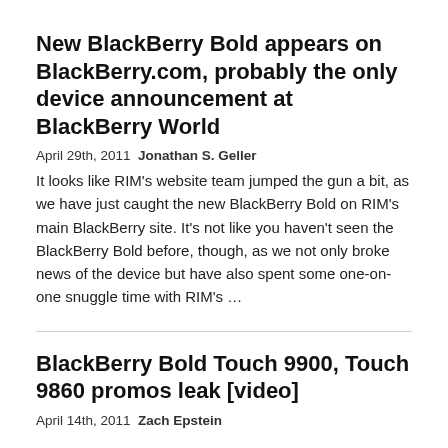New BlackBerry Bold appears on BlackBerry.com, probably the only device announcement at BlackBerry World
April 29th, 2011  Jonathan S. Geller
It looks like RIM's website team jumped the gun a bit, as we have just caught the new BlackBerry Bold on RIM's main BlackBerry site. It's not like you haven't seen the BlackBerry Bold before, though, as we not only broke news of the device but have also spent some one-on-one snuggle time with RIM's …
BlackBerry Bold Touch 9900, Touch 9860 promos leak [video]
April 14th, 2011  Zach Epstein